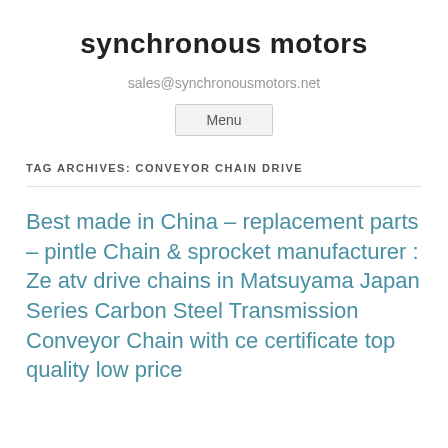synchronous motors
sales@synchronousmotors.net
Menu
TAG ARCHIVES: CONVEYOR CHAIN DRIVE
Best made in China – replacement parts – pintle Chain & sprocket manufacturer : Ze atv drive chains in Matsuyama Japan Series Carbon Steel Transmission Conveyor Chain with ce certificate top quality low price